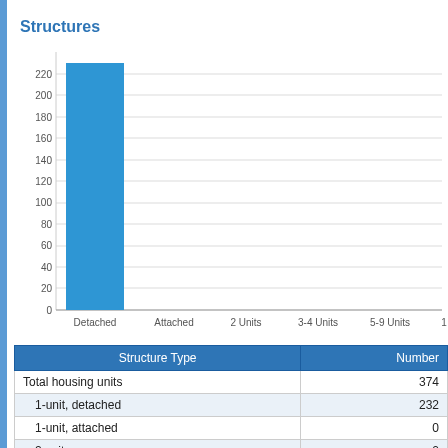Structures
[Figure (bar-chart): Structures]
| Structure Type | Number |
| --- | --- |
| Total housing units | 374 |
| 1-unit, detached | 232 |
| 1-unit, attached | 0 |
| 2 units | 0 |
| 3 or 4 units | 0 |